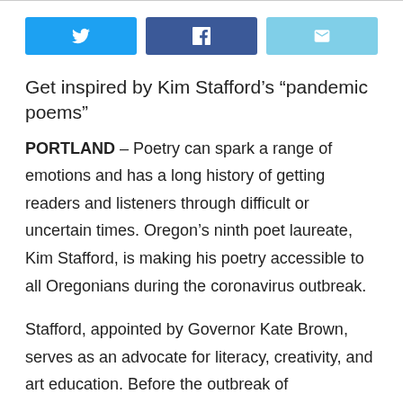[Figure (other): Social share buttons row: Twitter (blue), Facebook (dark blue), Email (light blue)]
Get inspired by Kim Stafford’s “pandemic poems”
PORTLAND – Poetry can spark a range of emotions and has a long history of getting readers and listeners through difficult or uncertain times. Oregon’s ninth poet laureate, Kim Stafford, is making his poetry accessible to all Oregonians during the coronavirus outbreak.
Stafford, appointed by Governor Kate Brown, serves as an advocate for literacy, creativity, and art education. Before the outbreak of coronavirus, he regularly visited schools, libraries, and community centers to work with